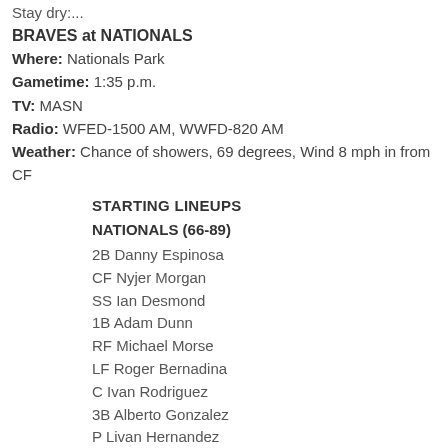Stay dry:...
BRAVES at NATIONALS
Where: Nationals Park
Gametime: 1:35 p.m.
TV: MASN
Radio: WFED-1500 AM, WWFD-820 AM
Weather: Chance of showers, 69 degrees, Wind 8 mph in from CF
STARTING LINEUPS
NATIONALS (66-89)
2B Danny Espinosa
CF Nyjer Morgan
SS Ian Desmond
1B Adam Dunn
RF Michael Morse
LF Roger Bernadina
C Ivan Rodriguez
3B Alberto Gonzalez
P Livan Hernandez
BRAVES (97-58)